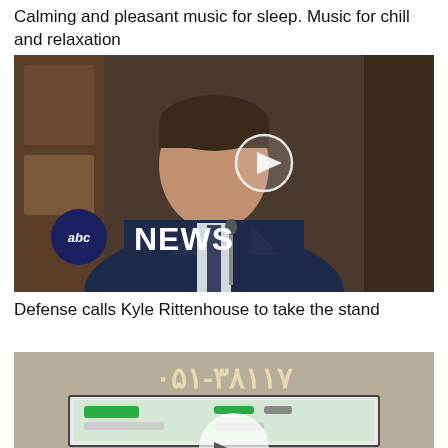Calming and pleasant music for sleep. Music for chill and relaxation
[Figure (screenshot): Video thumbnail showing a young man in a suit at a courtroom stand, with abc NEWS logo overlay and a play button circle in the center]
Defense calls Kyle Rittenhouse to take the stand
[Figure (screenshot): Video thumbnail showing a screen with Arabic numerals/text and a monitor displaying green chat bubbles]